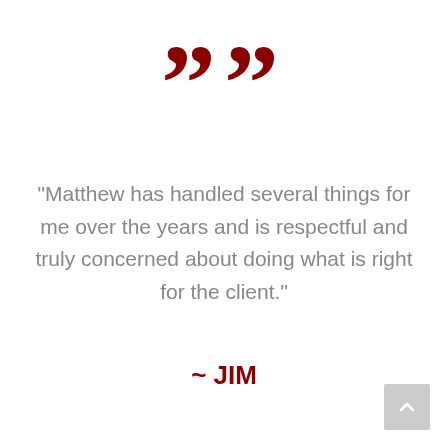[Figure (illustration): Large dark red closing double quotation marks centered at top of page]
"Matthew has handled several things for me over the years and is respectful and truly concerned about doing what is right for the client."
~ JIM